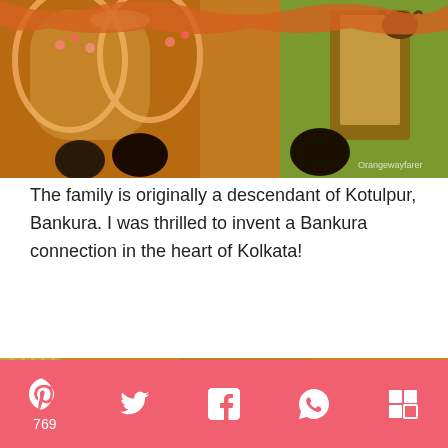[Figure (photo): Interior of a decorated Hindu home/temple during Durga Puja, with ornate arches, chandeliers, flowers, and people visible. Watermark reads 'Orangewayfarer'.]
The family is originally a descendant of Kotulpur, Bankura. I was thrilled to invent a Bankura connection in the heart of Kolkata!
[Figure (photo): Close-up of golden orange decorative drapes/curtains with fringe and fairy lights strung across a dark background, with ornate column visible on the left.]
Pinterest 769, Twitter, Facebook, WhatsApp, Flipboard